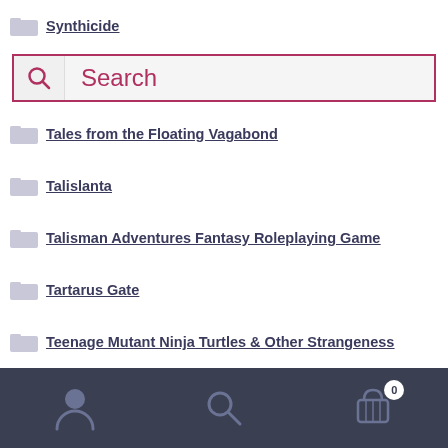Synthicide
[Figure (screenshot): Search bar with magnifying glass icon on left and placeholder text 'Search' in red/crimson color, bordered with red outline]
Tales from the Floating Vagabond
Talislanta
Talisman Adventures Fantasy Roleplaying Game
Tartarus Gate
Teenage Mutant Ninja Turtles & Other Strangeness
Teenagers From Outer Space
Tenchi Muyo!
Terminus V - The Armageddon Vortex
The Asphodel Complex
The Black Iron (partial)
User | Search | Cart (0)